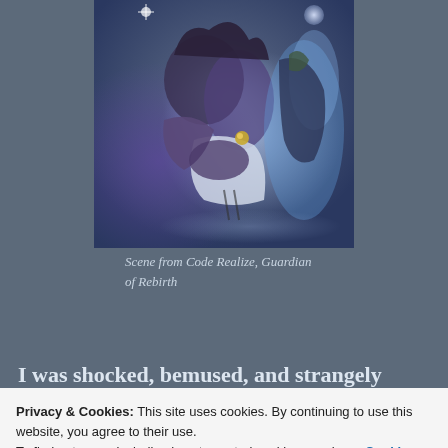[Figure (illustration): Anime scene showing characters from Code Realize, Guardian of Rebirth — two figures close together, one appearing to embrace or lean over the other, with blue/purple lighting and sparkling effects]
Scene from Code Realize, Guardian of Rebirth
I was shocked, bemused, and strangely thrilled by
Privacy & Cookies: This site uses cookies. By continuing to use this website, you agree to their use.
To find out more, including how to control cookies, see here: Cookie Policy
Close and accept
actually a gentle, devoted, caring partner